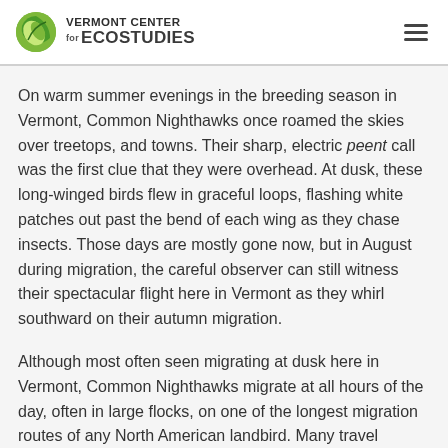VERMONT CENTER for ECOSTUDIES
On warm summer evenings in the breeding season in Vermont, Common Nighthawks once roamed the skies over treetops, and towns. Their sharp, electric peent call was the first clue that they were overhead. At dusk, these long-winged birds flew in graceful loops, flashing white patches out past the bend of each wing as they chase insects. Those days are mostly gone now, but in August during migration, the careful observer can still witness their spectacular flight here in Vermont as they whirl southward on their autumn migration.
Although most often seen migrating at dusk here in Vermont, Common Nighthawks migrate at all hours of the day, often in large flocks, on one of the longest migration routes of any North American landbird. Many travel overland through Mexico and southward through Central America, while others pass through Florida and across to Cuba southward, flying over the water to reach their wintering grounds in South America thousands of